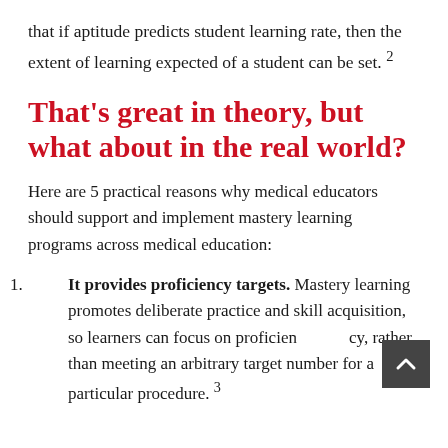that if aptitude predicts student learning rate, then the extent of learning expected of a student can be set. 2
That's great in theory, but what about in the real world?
Here are 5 practical reasons why medical educators should support and implement mastery learning programs across medical education:
It provides proficiency targets. Mastery learning promotes deliberate practice and skill acquisition, so learners can focus on proficiency, rather than meeting an arbitrary target number for a particular procedure. 3